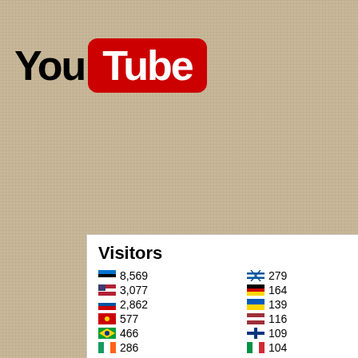[Figure (logo): YouTube logo with 'You' in black text and 'Tube' in white text on red rounded rectangle background]
[Figure (screenshot): Flag Counter widget showing visitor counts by country: Estonia 8,569; USA 3,077; Russia 2,862; China 577; Brazil 466; Ireland 286; Israel 279; Germany 164; Ukraine 139; Latvia 116; Finland 109; Italy 104]
Do you have any specific... 6, the NBA's Weibo accoun... Chinese New Year dinner a... league. Back to Home Page. Naomi Osaka tennis $37M 2...
Facebook